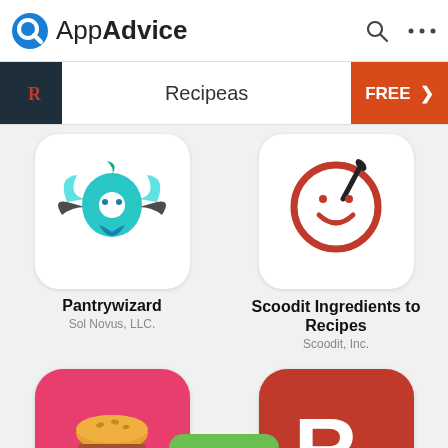AppAdvice
[Figure (screenshot): AppAdvice app listing page showing Recipeas banner and four app icons: Pantrywizard, Scoodit Ingredients to Recipes, Chow Down, Reciplease!]
Recipeas
FREE >
Pantrywizard
Sol Novus, LLC.
Scoodit Ingredients to Recipes
Scoodit, Inc.
Chow Down
Nadim Choudhury
Reciplease!
Mario Garcia